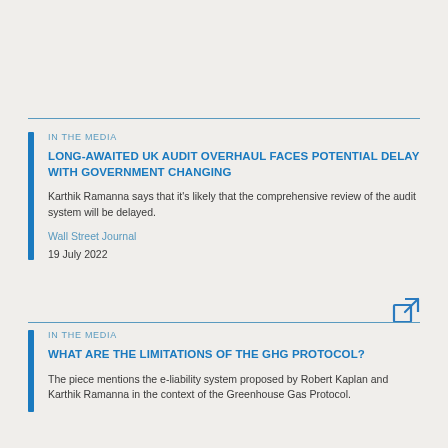IN THE MEDIA
LONG-AWAITED UK AUDIT OVERHAUL FACES POTENTIAL DELAY WITH GOVERNMENT CHANGING
Karthik Ramanna says that it's likely that the comprehensive review of the audit system will be delayed.
Wall Street Journal
19 July 2022
IN THE MEDIA
WHAT ARE THE LIMITATIONS OF THE GHG PROTOCOL?
The piece mentions the e-liability system proposed by Robert Kaplan and Karthik Ramanna in the context of the Greenhouse Gas Protocol.